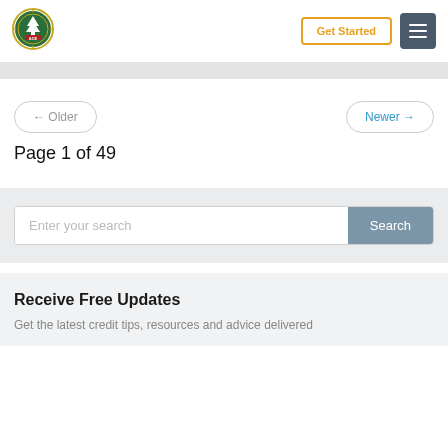[Figure (logo): Circular green and gold logo with tree and ACE text in center]
Get Started
← Older
Newer →
Page 1 of 49
Enter your search
Search
Receive Free Updates
Get the latest credit tips, resources and advice delivered